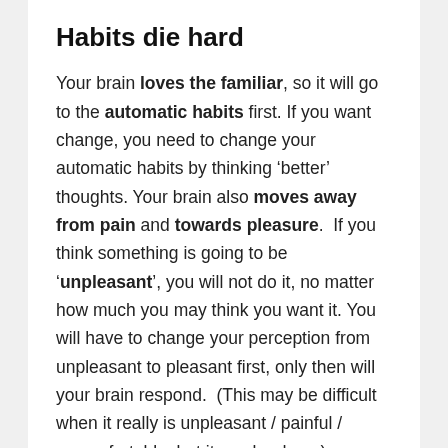Habits die hard
Your brain loves the familiar, so it will go to the automatic habits first. If you want change, you need to change your automatic habits by thinking ‘better’ thoughts. Your brain also moves away from pain and towards pleasure.  If you think something is going to be ‘unpleasant’, you will not do it, no matter how much you may think you want it. You will have to change your perception from unpleasant to pleasant first, only then will your brain respond.  (This may be difficult when it really is unpleasant / painful / uncomfortable, but it can be done.)